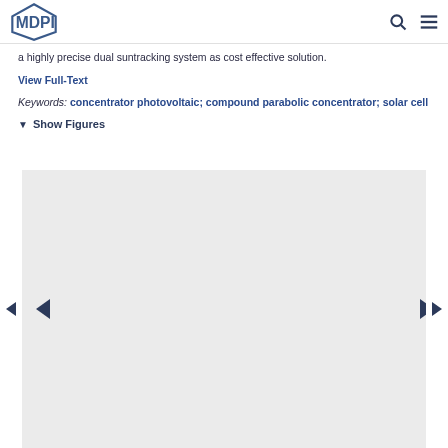MDPI
a highly precise dual suntracking system as cost effective solution.
View Full-Text
Keywords: concentrator photovoltaic; compound parabolic concentrator; solar cell
▼ Show Figures
[Figure (other): Figure carousel navigation area with left and right navigation arrows on a light grey background. Inner navigation arrows also visible.]